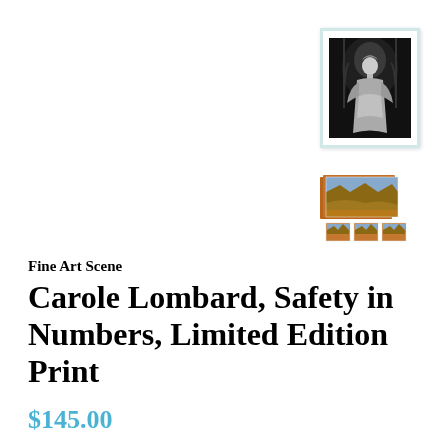[Figure (photo): Thumbnail of a black and white portrait photo of Carole Lombard in a white frame, top right corner]
[Figure (photo): Thumbnail showing grouped art prints display, bottom right area]
Fine Art Scene
Carole Lombard, Safety in Numbers, Limited Edition Print
$145.00